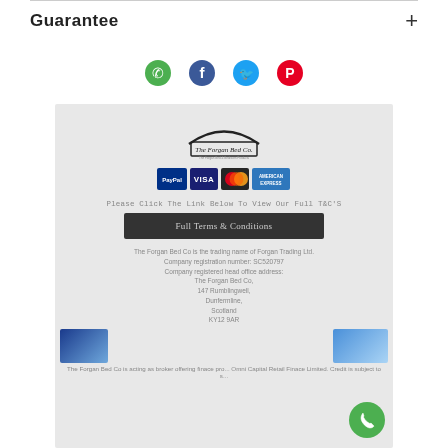Guarantee  +
[Figure (illustration): Social share icons: WhatsApp (green), Facebook (blue), Twitter (blue), Pinterest (red)]
[Figure (logo): The Forgan Bed Co. logo with bed silhouette]
[Figure (illustration): Payment method badges: PayPal, VISA, Mastercard, American Express]
Please Click The Link Below To View Our Full T&C'S
Full Terms & Conditions
The Forgan Bed Co is the trading name of Forgan Trading Ltd.
Company registration number: SC520797
Company registered head office address:
The Forgan Bed Co,
147 Rumblingwell,
Dunfermline,
Scotland
KY12 9AR
The Forgan Bed Co is acting as broker offering finace pro... Omni Capital Retail Finace Limited. Credit is subject to s...